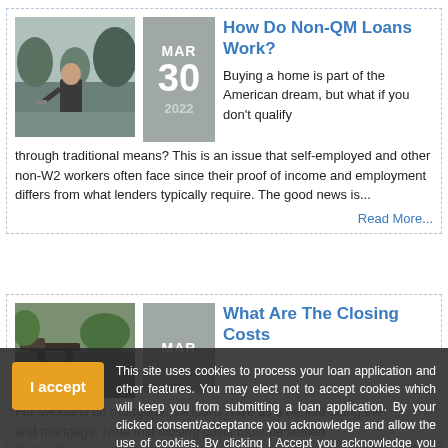[Figure (photo): Photo of a man outdoors holding something, with trees in background]
How Do Non-QM Loans Work?
Buying a home is part of the American dream, but what if you don't qualify through traditional means? This is an issue that self-employed and other non-W2 workers often face since their proof of income and employment differs from what lenders typically require. The good news is...
Read More...
[Figure (photo): Photo of outdoor furniture/patio setting with greenery]
What Are The Closing Costs
This site uses cookies to process your loan application and other features. You may elect not to accept cookies which will keep you from submitting a loan application. By your clicked consent/acceptance you acknowledge and allow the use of cookies. By clicking I Accept you acknowledge you have read and understand Personalized Mortgage Planners Inc.'s Privacy Policy.
Read More...